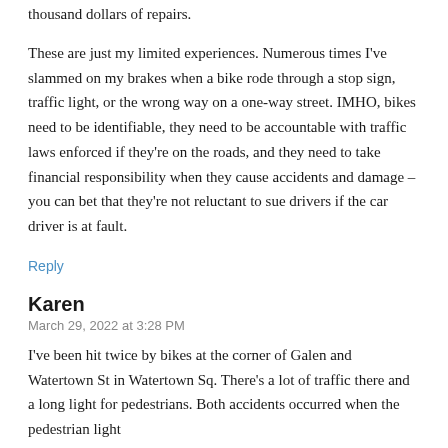thousand dollars of repairs.
These are just my limited experiences. Numerous times I've slammed on my brakes when a bike rode through a stop sign, traffic light, or the wrong way on a one-way street. IMHO, bikes need to be identifiable, they need to be accountable with traffic laws enforced if they're on the roads, and they need to take financial responsibility when they cause accidents and damage – you can bet that they're not reluctant to sue drivers if the car driver is at fault.
Reply
Karen
March 29, 2022 at 3:28 PM
I've been hit twice by bikes at the corner of Galen and Watertown St in Watertown Sq. There's a lot of traffic there and a long light for pedestrians. Both accidents occurred when the pedestrian light